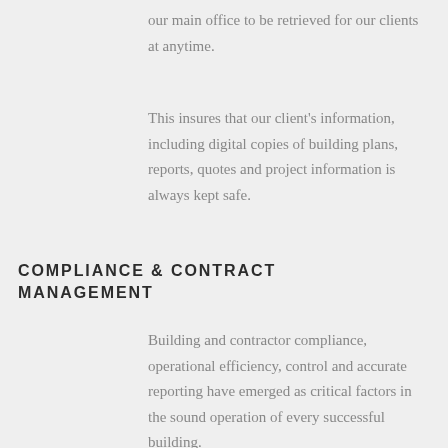our main office to be retrieved for our clients at anytime.
This insures that our client's information, including digital copies of building plans, reports, quotes and project information is always kept safe.
COMPLIANCE & CONTRACT MANAGEMENT
Building and contractor compliance, operational efficiency, control and accurate reporting have emerged as critical factors in the sound operation of every successful building.